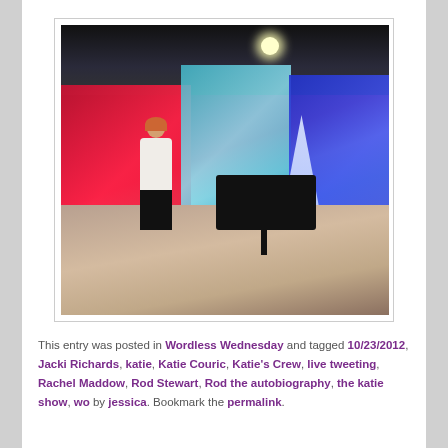[Figure (photo): Photo of a TV studio stage with colorful lighting (red, cyan, blue panels), a performer singing with a microphone, a grand piano, a white Christmas tree illuminated in blue light, and studio ceiling lights. The stage floor has warm wood tones.]
This entry was posted in Wordless Wednesday and tagged 10/23/2012, Jacki Richards, katie, Katie Couric, Katie's Crew, live tweeting, Rachel Maddow, Rod Stewart, Rod the autobiography, the katie show, wo by jessica. Bookmark the permalink.